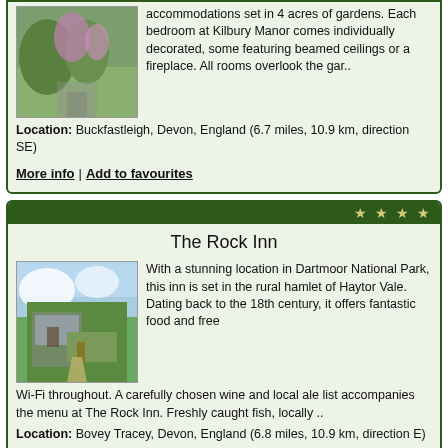accommodations set in 4 acres of gardens. Each bedroom at Kilbury Manor comes individually decorated, some featuring beamed ceilings or a fireplace. All rooms overlook the gar..
Location: Buckfastleigh, Devon, England (6.7 miles, 10.9 km, direction SE)
More info | Add to favourites
[Figure (photo): Exterior/garden photo of The Rock Inn property showing a pathway through greenery]
The Rock Inn
With a stunning location in Dartmoor National Park, this inn is set in the rural hamlet of Haytor Vale. Dating back to the 18th century, it offers fantastic food and free Wi-Fi throughout. A carefully chosen wine and local ale list accompanies the menu at The Rock Inn. Freshly caught fish, locally ..
Location: Bovey Tracey, Devon, England (6.8 miles, 10.9 km, direction E)
More info | Add to favourites